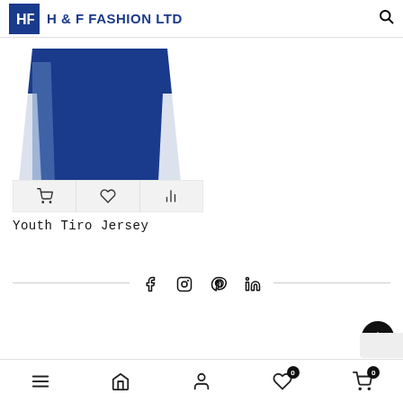H & F FASHION LTD
[Figure (photo): Partial view of a navy blue youth sports jersey with white side stripe, shown from mid-torso down]
[Figure (infographic): Three action icon buttons: shopping cart, heart/wishlist, bar chart/analytics]
Youth Tiro Jersey
[Figure (infographic): Social media icons row: Facebook, Instagram, Pinterest, LinkedIn, with horizontal lines on each side]
Bottom navigation bar with menu, home, account, wishlist (0), and cart (0) icons